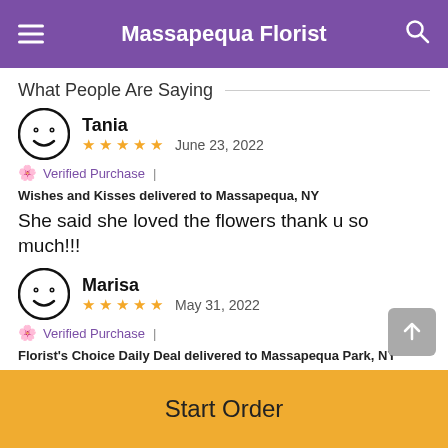Massapequa Florist
What People Are Saying
Tania
★★★★★ June 23, 2022
🌸 Verified Purchase | Wishes and Kisses delivered to Massapequa, NY
She said she loved the flowers thank u so much!!!
Marisa
★★★★★ May 31, 2022
🌸 Verified Purchase | Florist's Choice Daily Deal delivered to Massapequa Park, NY
Start Order